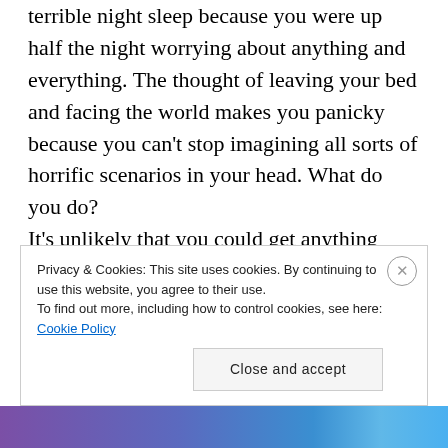terrible night sleep because you were up half the night worrying about anything and everything. The thought of leaving your bed and facing the world makes you panicky because you can't stop imagining all sorts of horrific scenarios in your head. What do you do? It's unlikely that you could get anything over the counter that would stop you feeling anxious or depressed. It's unlikely that you'd think to ring your GP or call work/school/college to tell them how you're feeling. It's likely that you'd try to force yourself to carry on as normal, or you'd stay in bed and hurry your
Privacy & Cookies: This site uses cookies. By continuing to use this website, you agree to their use.
To find out more, including how to control cookies, see here: Cookie Policy